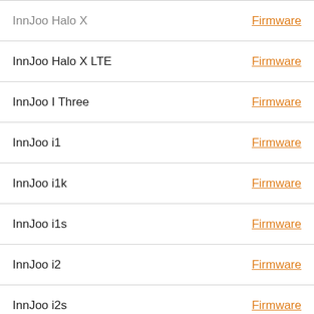| Device | Link |
| --- | --- |
| InnJoo Halo X | Firmware |
| InnJoo Halo X LTE | Firmware |
| InnJoo I Three | Firmware |
| InnJoo i1 | Firmware |
| InnJoo i1k | Firmware |
| InnJoo i1s | Firmware |
| InnJoo i2 | Firmware |
| InnJoo i2s | Firmware |
| InnJoo I3 | Firmware |
| InnJ... | ...re |
| InnJ... | ...re |
| Inn... |  |
[Figure (other): Jersey Mike's advertisement overlay: logo, text 'Jersey Mike's - Order Deliver', subtitle 'Jersey Mike's Subs', blue arrow icon, with play and close controls]